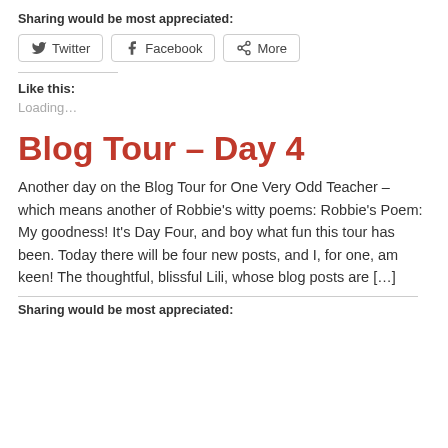Sharing would be most appreciated:
[Figure (other): Three share buttons: Twitter, Facebook, More]
Like this:
Loading...
Blog Tour – Day 4
Another day on the Blog Tour for One Very Odd Teacher – which means another of Robbie's witty poems: Robbie's Poem: My goodness! It's Day Four, and boy what fun this tour has been. Today there will be four new posts, and I, for one, am keen! The thoughtful, blissful Lili, whose blog posts are […]
Sharing would be most appreciated: